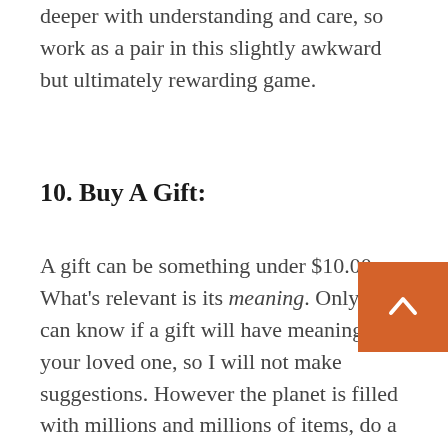deeper with understanding and care, so work as a pair in this slightly awkward but ultimately rewarding game.
10. Buy A Gift:
A gift can be something under $10.00. What's relevant is its meaning. Only you can know if a gift will have meaning to your loved one, so I will not make suggestions. However the planet is filled with millions and millions of items, do a search relevant to what your loved one loves, and order a gift, get it gift-wrapped, and surprise them! If you can, capture the moment on video! It's sure to have